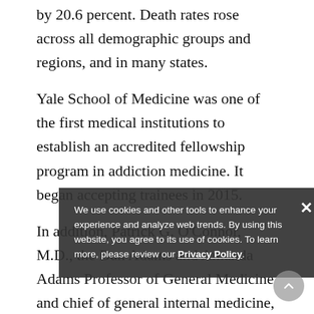by 20.6 percent. Death rates rose across all demographic groups and regions, and in many states.
Yale School of Medicine was one of the first medical institutions to establish an accredited fellowship program in addiction medicine. It began accepting trainees in 2015.
In addition, Patrick G. O'Connor, M.D., the Dan Adams and Amanda Adams Professor of General Medicine and chief of general internal medicine, and Gail D'Onofrio, M.D., chair and professor of emergency medicine, led the effort to make addiction medicine as official medical subspecialty in 2016. This landmark change will increase the number of physicians in a variety of primary care and other medical specialties
We use cookies and other tools to enhance your experience and analyze web trends. By using this website, you agree to its use of cookies. To learn more, please review our Privacy Policy.